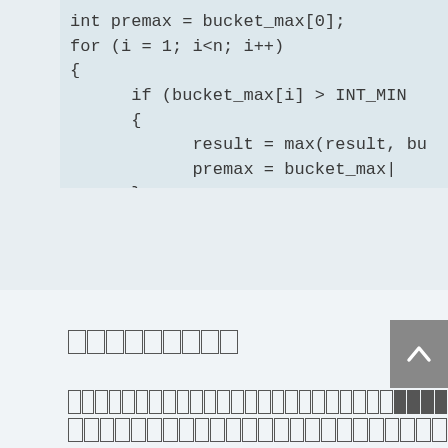int premax = bucket_max[0];
for (i = 1; i<n; i++)
{
    if (bucket_max[i] > INT_MIN
    {
        result = max(result, bu
        premax = bucket_max|
    }
}

return result;
    }
};
□□□□□□□□□
□□□□□□□□□□□□□□□□□□□□□□□□□□□□□□□□□□□□□□□□□□□□
□□□□□□□□□□□□□□□□□□□□□□□□□□□□□□□□□□□□□□□□□□□□